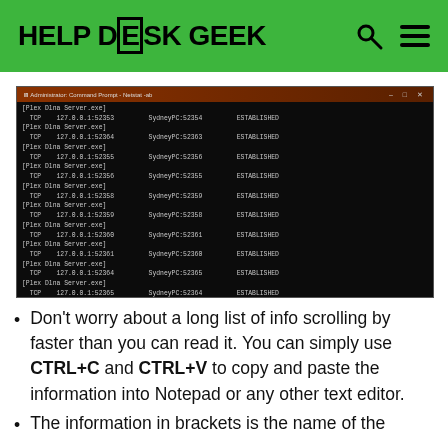HELP DESK GEEK
[Figure (screenshot): Administrator Command Prompt - Netstat -ab window showing TCP connections for Plex Dlna Server.exe and SamsungDex.exe with ESTABLISHED and LISTENING states, connecting 127.0.0.1 to SydneyPC on various ports]
Don't worry about a long list of info scrolling by faster than you can read it. You can simply use CTRL+C and CTRL+V to copy and paste the information into Notepad or any other text editor.
The information in brackets is the name of the